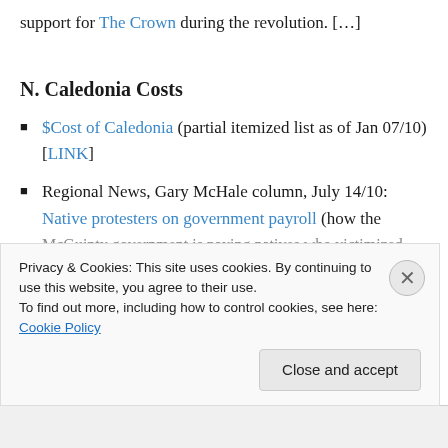support for The Crown during the revolution. […]
N. Caledonia Costs
$Cost of Caledonia (partial itemized list as of Jan 07/10) [LINK]
Regional News, Gary McHale column, July 14/10: Native protesters on government payroll (how the McGuinty government is paying natives who victimized…
Privacy & Cookies: This site uses cookies. By continuing to use this website, you agree to their use. To find out more, including how to control cookies, see here: Cookie Policy